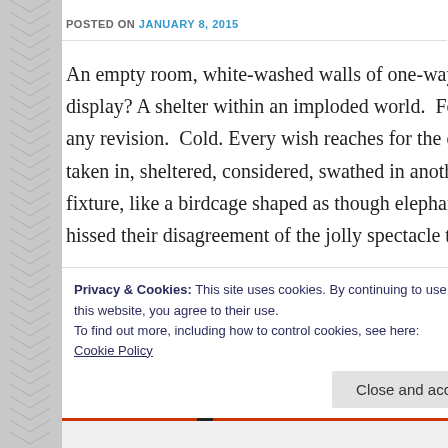POSTED ON JANUARY 8, 2015
An empty room, white-washed walls of one-way mirrors. Questi display? A shelter within an imploded world.  For the inhabitants any revision.  Cold. Every wish reaches for the ever-increasing u taken in, sheltered, considered, swathed in another’s languishing fixture, like a birdcage shaped as though elephants, horses, and t hissed their disagreement of the jolly spectacle they’ve become.
Two, yes, each arguing with the reality of the other, approach the disdain and revulsion as though one wish, one action, one word c timidity prevails. Feral instincts. Smell the hand, chance a gl–se
Privacy & Cookies: This site uses cookies. By continuing to use this website, you agree to their use.
To find out more, including how to control cookies, see here: Cookie Policy
Close and accept